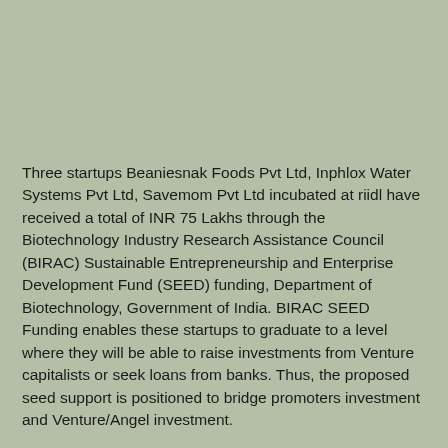Three startups Beaniesnak Foods Pvt Ltd, Inphlox Water Systems Pvt Ltd, Savemom Pvt Ltd incubated at riidl have received a total of INR 75 Lakhs through the Biotechnology Industry Research Assistance Council (BIRAC) Sustainable Entrepreneurship and Enterprise Development Fund (SEED) funding, Department of Biotechnology, Government of India. BIRAC SEED Funding enables these startups to graduate to a level where they will be able to raise investments from Venture capitalists or seek loans from banks. Thus, the proposed seed support is positioned to bridge promoters investment and Venture/Angel investment.
Indra Water (Registered as Inphlox Water Systems Pvt Ltd) makes decentralized and modular wastewater treatment & monitoring systems based on their patented physio-electrical process technology. Their work has been recognized globally